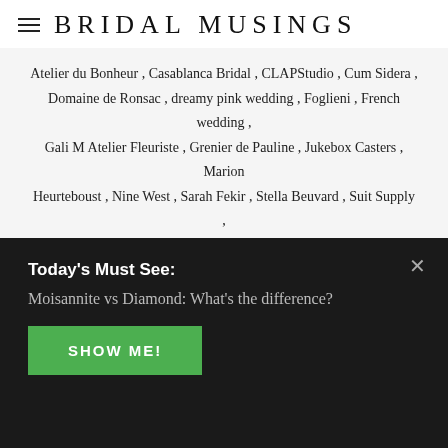BRIDAL MUSINGS
Atelier du Bonheur , Casablanca Bridal , CLAPStudio , Cum Sidera , Domaine de Ronsac , dreamy pink wedding , Foglieni , French wedding , Gali M Atelier Fleuriste , Grenier de Pauline , Jukebox Casters , Marion Heurteboust , Nine West , Sarah Fekir , Stella Beuvard , Suit Supply , Toulouse wedding , wedding in France
RELATED
We use cookies to optimize our website and our
Today's Must See:
Moisannite vs Diamond: What's the difference?
SHOW ME!